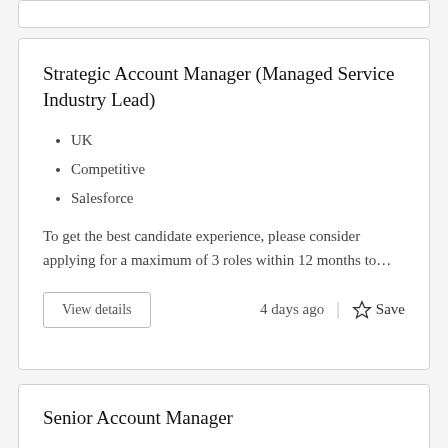Strategic Account Manager (Managed Service Industry Lead)
UK
Competitive
Salesforce
To get the best candidate experience, please consider applying for a maximum of 3 roles within 12 months to…
View details   4 days ago   Save
Senior Account Manager
UK
Competitive